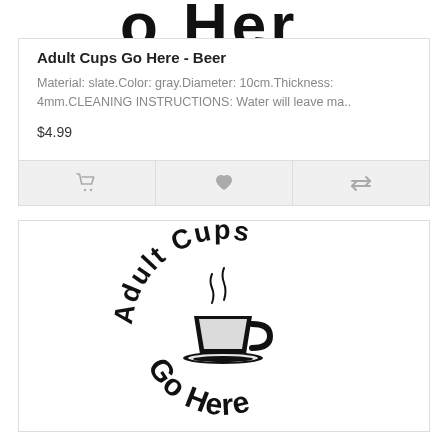[Figure (illustration): Partial product image at top, cropped — appears to show text 'Go Here' in circular arrangement]
Adult Cups Go Here - Beer
Material: slate.Color: gray.Diameter: 10cm.Thickness: 4mm.CLEANING INSTRUCTIONS: Water will leave ma..
$4.99
[Figure (illustration): Icons row: shopping cart, heart, compare/swap icon]
[Figure (illustration): Product image showing circular text 'Adult Cups Go Here' with a steaming coffee cup in the center, black on white background]